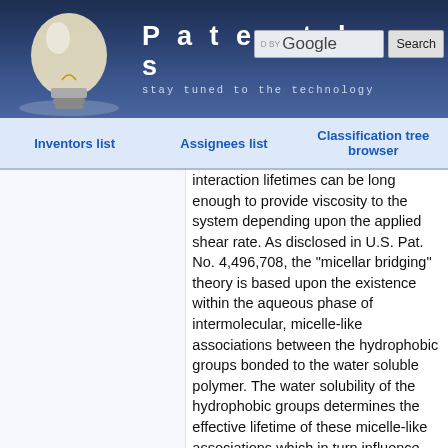Patentdocs — stay tuned to the technology
Inventors list   Assignees list   Classification tree browser
interaction lifetimes can be long enough to provide viscosity to the system depending upon the applied shear rate. As disclosed in U.S. Pat. No. 4,496,708, the "micellar bridging" theory is based upon the existence within the aqueous phase of intermolecular, micelle-like associations between the hydrophobic groups bonded to the water soluble polymer. The water solubility of the hydrophobic groups determines the effective lifetime of these micelle-like associations which in turn influence thickening efficiency and viscosity.